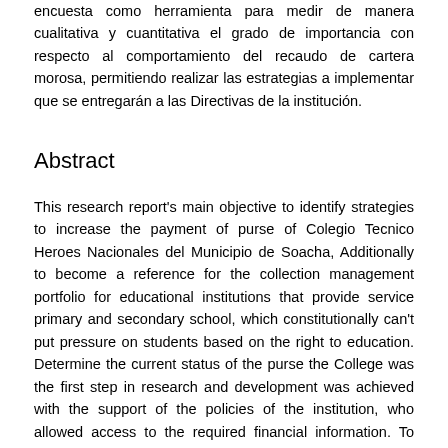encuesta como herramienta para medir de manera cualitativa y cuantitativa el grado de importancia con respecto al comportamiento del recaudo de cartera morosa, permitiendo realizar las estrategias a implementar que se entregarán a las Directivas de la institución.
Abstract
This research report's main objective to identify strategies to increase the payment of purse of Colegio Tecnico Heroes Nacionales del Municipio de Soacha, Additionally to become a reference for the collection management portfolio for educational institutions that provide service primary and secondary school, which constitutionally can't put pressure on students based on the right to education. Determine the current status of the purse the College was the first step in research and development was achieved with the support of the policies of the institution, who allowed access to the required financial information. To determine the factors that influence the nonpayment of parents or guardians, a survey as a tool to measure qualitatively and quantitatively the degree of importance concerning the behavior of the collection of non- performing loans was made, allowing to make strategies to be delivered to implement the directives of the institution.